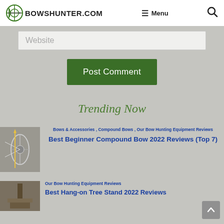BOWSHUNTER.COM  Menu  🔍
Website
Post Comment
Trending Now
Bows & Accessories , Compound Bows , Our Bow Hunting Equipment Reviews
Best Beginner Compound Bow 2022 Reviews (Top 7)
[Figure (photo): Compound bow product photo thumbnail]
Our Bow Hunting Equipment Reviews
Best Hang-on Tree Stand 2022 Reviews
[Figure (photo): Tree stand product photo thumbnail]